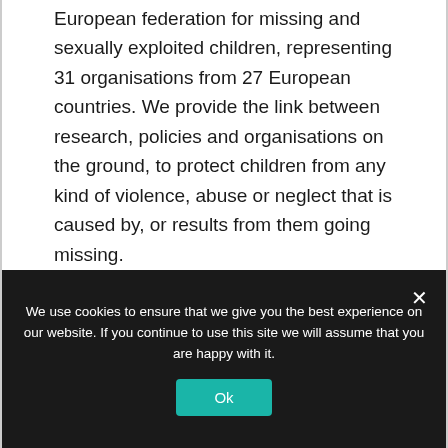European federation for missing and sexually exploited children, representing 31 organisations from 27 European countries. We provide the link between research, policies and organisations on the ground, to protect children from any kind of violence, abuse or neglect that is caused by, or results from them going missing.
Our offer
We use cookies to ensure that we give you the best experience on our website. If you continue to use this site we will assume that you are happy with it.